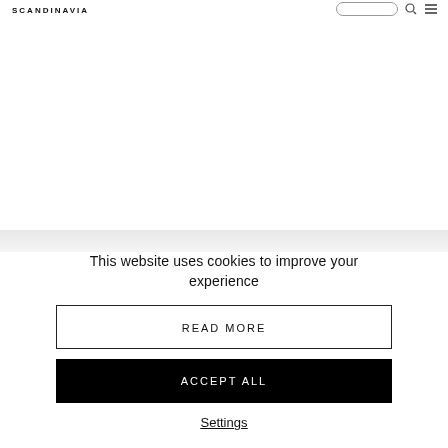SCANDINAVIA
This website uses cookies to improve your experience
READ MORE
ACCEPT ALL
Settings